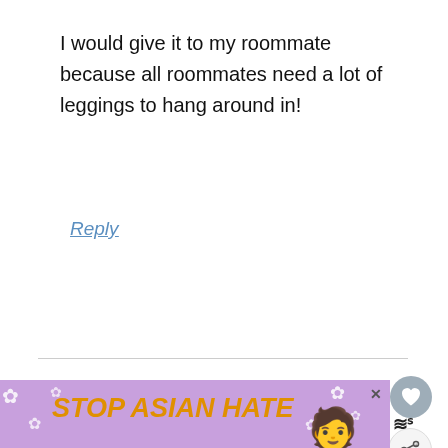I would give it to my roommate because all roommates need a lot of leggings to hang around in!
Reply
Allison says
December 9, 2015 at 9:27 am
I would share it with my sister!
[Figure (screenshot): Stop Asian Hate advertisement banner with purple floral background and anime-style figure]
[Figure (other): What's Next panel showing '7 Miles In Heaven' thumbnail]